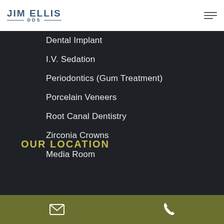JIM ELLIS DDS
Dental Implant
I.V. Sedation
Periodontics (Gum Treatment)
Porcelain Veneers
Root Canal Dentistry
Zirconia Crowns
Media Room
OUR LOCATION
email | phone